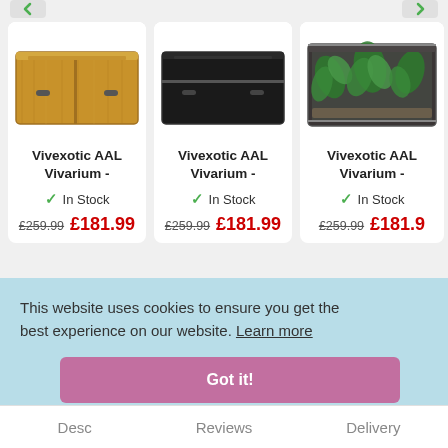[Figure (screenshot): Product card 1: Vivexotic AAL Vivarium in wood/oak finish, showing a rectangular vivarium enclosure]
Vivexotic AAL Vivarium -
✓ In Stock
£259.99 £181.99
[Figure (screenshot): Product card 2: Vivexotic AAL Vivarium in black finish]
Vivexotic AAL Vivarium -
✓ In Stock
£259.99 £181.99
[Figure (screenshot): Product card 3: Vivexotic AAL Vivarium in dark grey finish with plants inside]
Vivexotic AAL Vivarium -
✓ In Stock
£259.99 £181.9
This website uses cookies to ensure you get the best experience on our website. Learn more
Got it!
Desc
Reviews
Delivery